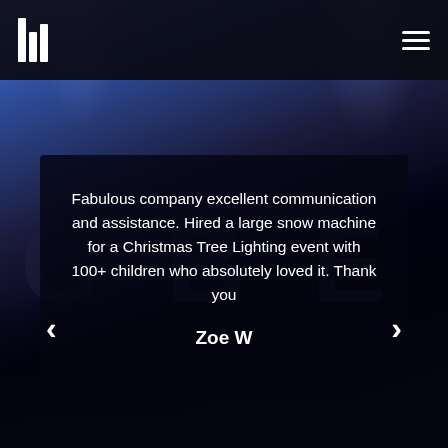[Figure (screenshot): Website screenshot showing a dark nav bar with a logo (three vertical bars of different heights) on the left and a hamburger menu icon on the right, over a dark bluish-purple stage/event background with spotlight rays and large ghost letters 'C B E' in the background.]
Fabulous company excellent communication and assistance. Hired a large snow machine for a Christmas Tree Lighting event with 100+ children who absolutely loved it. Thank you
Zoe W